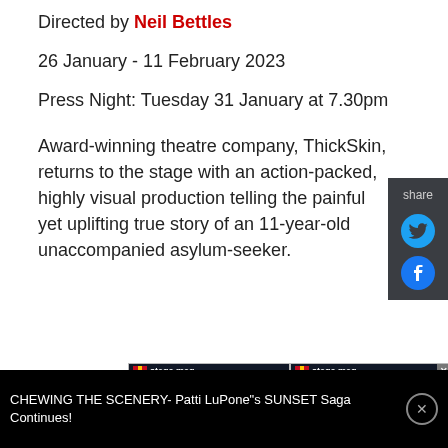Directed by Neil Bettles
26 January - 11 February 2023
Press Night: Tuesday 31 January at 7.30pm
Award-winning theatre company, ThickSkin, returns to the stage with an action-packed, highly visual production telling the painful yet uplifting true story of an 11-year-old unaccompanied asylum-seeker.
[Figure (screenshot): Stage Mag advertisement banners showing 'A Love Letter to Iza' and 'Ratatouille The Musical']
CHEWING THE SCENERY- Patti LuPone"s SUNSET Saga Continues!